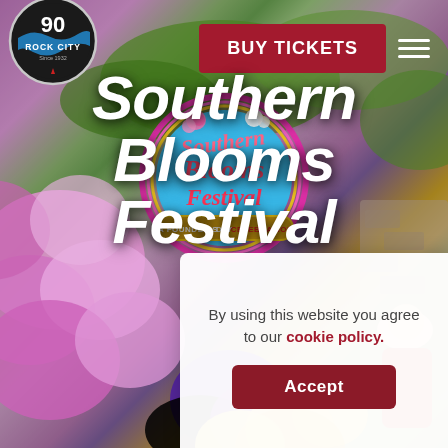[Figure (photo): Background photo of colorful southern blooms — pink rhododendrons, purple pansies, yellow flowers — with green foliage and stone wall, outdoor garden scene at Rock City]
Southern Blooms Festival
[Figure (logo): Rock City 90th anniversary circular logo with '90 ROCK CITY Since 1932' text and blue wave graphic]
[Figure (logo): Southern Blooms Festival badge logo — circular badge with pink border, blue background, orange/yellow script text reading 'Southern Blooms Festival', with banner reading 'A FOUNDER'S DAY CELEBRATION' and flower decorations]
BUY TICKETS
By using this website you agree to our cookie policy.
Accept